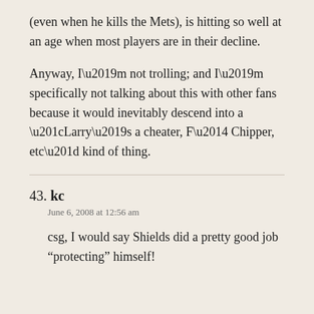(even when he kills the Mets), is hitting so well at an age when most players are in their decline.
Anyway, I’m not trolling; and I’m specifically not talking about this with other fans because it would inevitably descend into a “Larry’s a cheater, F— Chipper, etc” kind of thing.
43. kc
June 6, 2008 at 12:56 am
csg, I would say Shields did a pretty good job “protecting” himself!